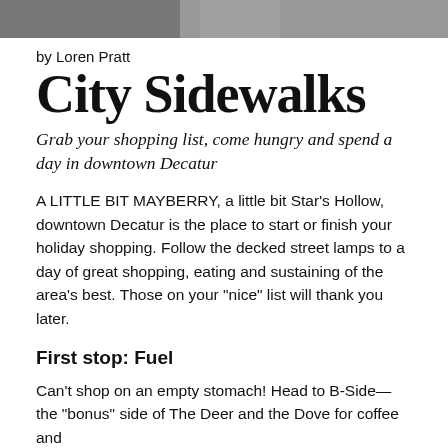[Figure (photo): Partial photo strip at top of page showing people outdoors]
by Loren Pratt
City Sidewalks
Grab your shopping list, come hungry and spend a day in downtown Decatur
A LITTLE BIT MAYBERRY, a little bit Star's Hollow, downtown Decatur is the place to start or finish your holiday shopping. Follow the decked street lamps to a day of great shopping, eating and sustaining of the area's best. Those on your "nice" list will thank you later.
First stop: Fuel
Can't shop on an empty stomach! Head to B-Side—the "bonus" side of The Deer and the Dove for coffee and